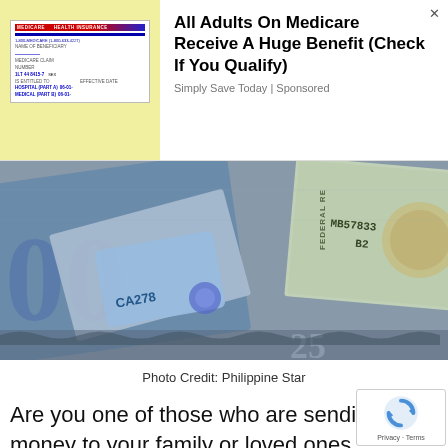[Figure (screenshot): Advertisement banner: Medicare card image on yellow background on left; text 'All Adults On Medicare Receive A Huge Benefit (Check If You Qualify)' with source 'Simply Save Today | Sponsored' on right; X close button top right]
[Figure (photo): Photo of Philippine peso bills and a US $100 federal reserve note with serial MB57833 B2, and a credit card (CA278)]
Photo Credit: Philippine Star
Are you one of those who are sending money to your family or loved ones from the United States to the Philippines? Or you are on the other end being the receiver of a regular remittance from a family member or a loved one working or living abroad?